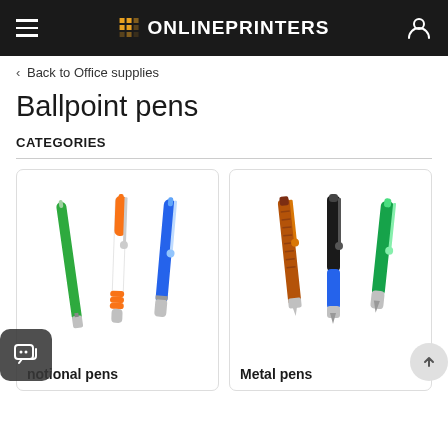ONLINEPRINTERS
< Back to Office supplies
Ballpoint pens
CATEGORIES
[Figure (photo): Two product category cards side by side. Left card shows three promotional ballpoint pens (green, orange/white, blue). Right card shows three metal ballpoint pens (orange/copper textured, black/blue, green).]
Promotional pens
Metal pens